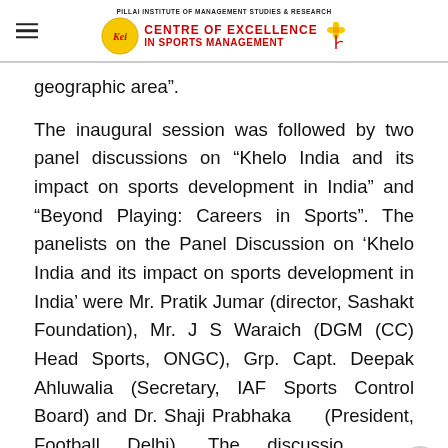PILLAI INSTITUTE OF MANAGEMENT STUDIES & RESEARCH — CENTRE OF EXCELLENCE IN SPORTS MANAGEMENT
geographic area”.
The inaugural session was followed by two panel discussions on “Khelo India and its impact on sports development in India” and “Beyond Playing: Careers in Sports”. The panelists on the Panel Discussion on ‘Khelo India and its impact on sports development in India’ were Mr. Pratik Jumar (director, Sashakt Foundation), Mr. J S Waraich (DGM (CC) Head Sports, ONGC), Grp. Capt. Deepak Ahluwalia (Secretary, IAF Sports Control Board) and Dr. Shaji Prabhakaran (President, Football Delhi). The discussion was moderated by Mr. Sujit Panigrahi, Founder &